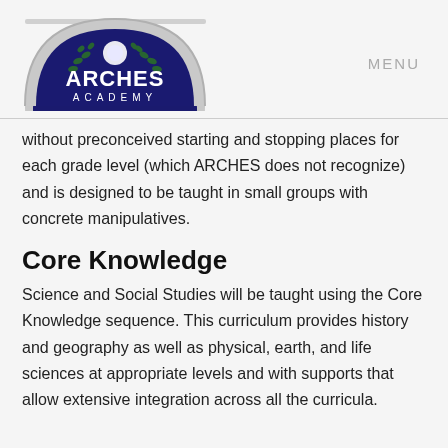[Figure (logo): Arches Academy logo: a stone arch with a dark blue semicircle background, white globe, green laurel wreaths, and the text ARCHES ACADEMY]
MENU
without preconceived starting and stopping places for each grade level (which ARCHES does not recognize) and is designed to be taught in small groups with concrete manipulatives.
Core Knowledge
Science and Social Studies will be taught using the Core Knowledge sequence. This curriculum provides history and geography as well as physical, earth, and life sciences at appropriate levels and with supports that allow extensive integration across all the curricula.